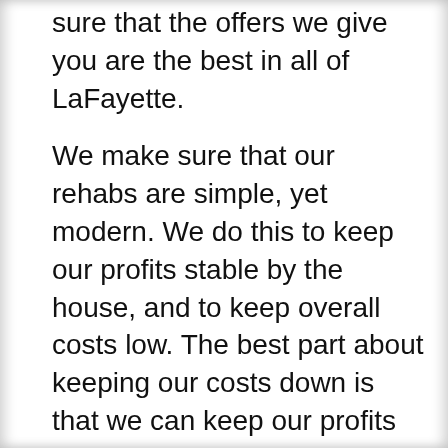sure that the offers we give you are the best in all of LaFayette.
We make sure that our rehabs are simple, yet modern. We do this to keep our profits stable by the house, and to keep overall costs low. The best part about keeping our costs down is that we can keep our profits high, which means more for your LaFayette home.
We believe that we are the best